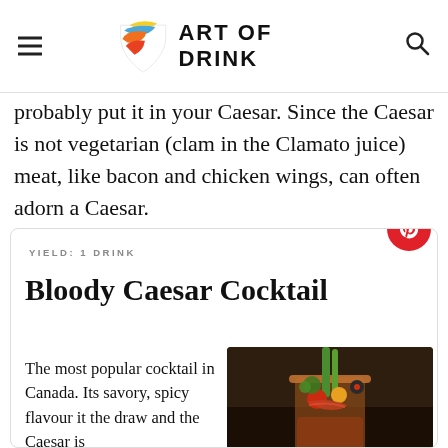ART OF DRINK
probably put it in your Caesar. Since the Caesar is not vegetarian (clam in the Clamato juice) meat, like bacon and chicken wings, can often adorn a Caesar.
YIELD: 1 DRINK
Bloody Caesar Cocktail
The most popular cocktail in Canada. Its savory, spicy flavour it the draw and the Caesar is
[Figure (photo): Photo of a Bloody Caesar cocktail in a rimmed glass garnished with celery, bacon, cherry tomatoes, and olives on a dark background]